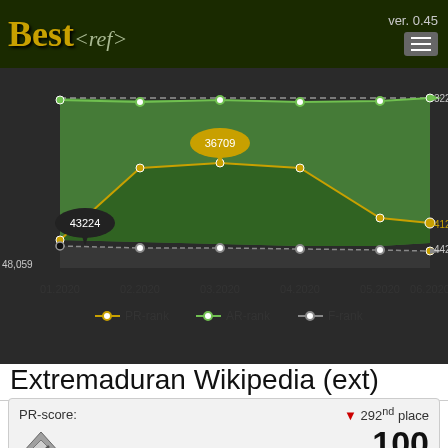Best<ref> ver. 0.45
[Figure (line-chart): Rank over time Jan–Jun 2020]
Extremaduran Wikipedia (ext)
| PR-score: | 292nd place |
| --- | --- |
| [diamond icon] | 100 |
|  | -500 |
AR-score:  35th place